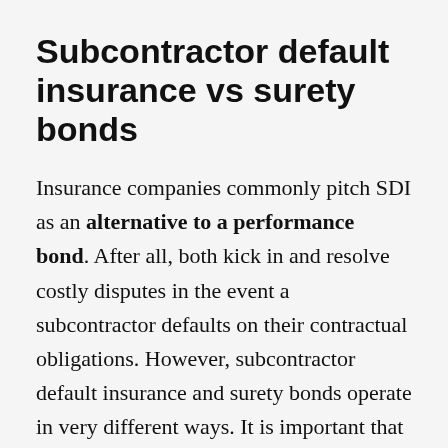Subcontractor default insurance vs surety bonds
Insurance companies commonly pitch SDI as an alternative to a performance bond. After all, both kick in and resolve costly disputes in the event a subcontractor defaults on their contractual obligations. However, subcontractor default insurance and surety bonds operate in very different ways. It is important that contractors understand the difference between SubGuard and a surety bond.